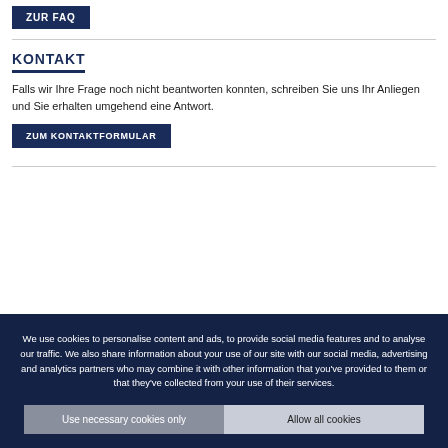ZUR FAQ
KONTAKT
Falls wir Ihre Frage noch nicht beantworten konnten, schreiben Sie uns Ihr Anliegen und Sie erhalten umgehend eine Antwort.
ZUM KONTAKTFORMULAR
We use cookies to personalise content and ads, to provide social media features and to analyse our traffic. We also share information about your use of our site with our social media, advertising and analytics partners who may combine it with other information that you've provided to them or that they've collected from your use of their services.
Use necessary cookies only
Allow all cookies